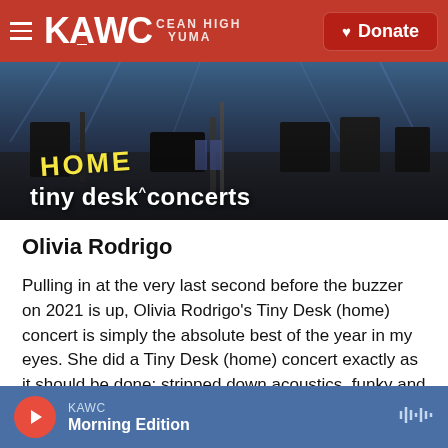KAWC | Donate
[Figure (photo): Tiny Desk Home Concerts hero image showing a music stage setup with instruments and equipment. Yellow hand-lettered 'HOME' text overlaid. White text reads 'tiny desk concerts' at bottom left.]
Olivia Rodrigo
Pulling in at the very last second before the buzzer on 2021 is up, Olivia Rodrigo's Tiny Desk (home) concert is simply the absolute best of the year in my eyes. She did a Tiny Desk (home) concert exactly as it should be done: stripped down acoustics, funky and weird location (shoutout to the California Girl...
KAWC Morning Edition